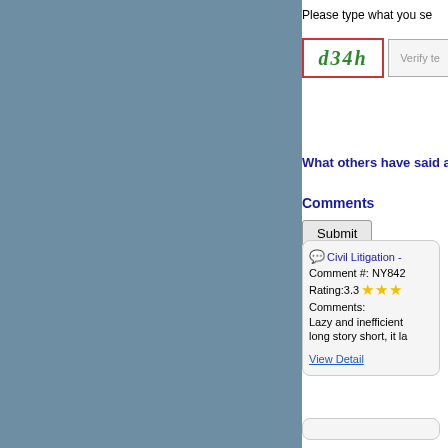Please type what you se
[Figure (screenshot): CAPTCHA image showing text 'd34h' in green italic font inside a red-bordered box, next to a 'Verify te...' input field]
Submit
What others have said ab
Comments
Civil Litigation - Comment #: NY842 Rating:3.3 ★★★ Comments: Lazy and inefficient long story short, it la
View Detail